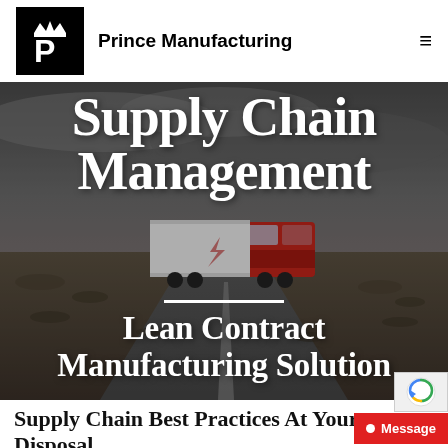Prince Manufacturing
[Figure (photo): Aerial highway photo showing a red semi-truck with white trailer driving on a desert highway under overcast sky, with scrubland visible]
Supply Chain Management
Lean Contract Manufacturing Solution
Supply Chain Best Practices At Your Disposal